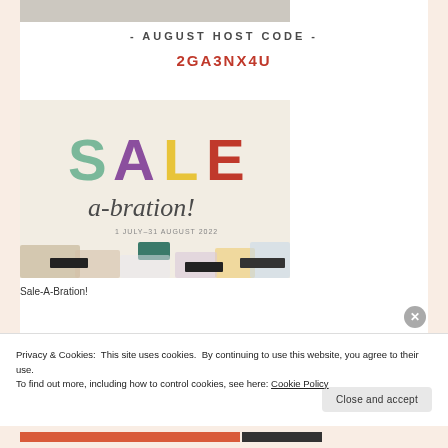[Figure (photo): Partial top image of crafting products, cropped at top of page]
- AUGUST HOST CODE -
2GA3NX4U
[Figure (photo): Sale-A-Bration promotional image showing colorful SALE a-bration! text with crafting products, dated 1 July–31 August 2022]
Sale-A-Bration!
Privacy & Cookies: This site uses cookies. By continuing to use this website, you agree to their use.
To find out more, including how to control cookies, see here: Cookie Policy
Close and accept